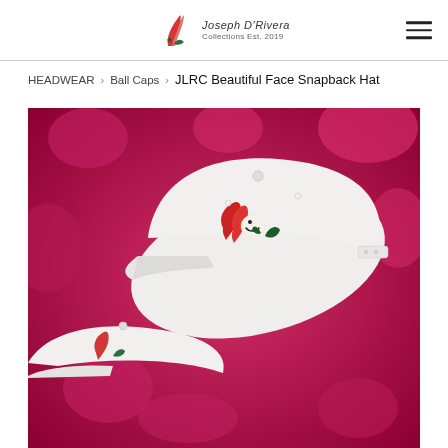Joseph D'Rivera Collections Est. 2019 [logo] [hamburger menu]
HEADWEAR › Ball Caps › JLRC Beautiful Face Snapback Hat
[Figure (photo): Two white snapback hats with red and dark green embroidered JLRC logo (stylized face design) displayed on a pink/magenta floral background. One hat is angled showing the front embroidery clearly, another partially visible at the bottom.]